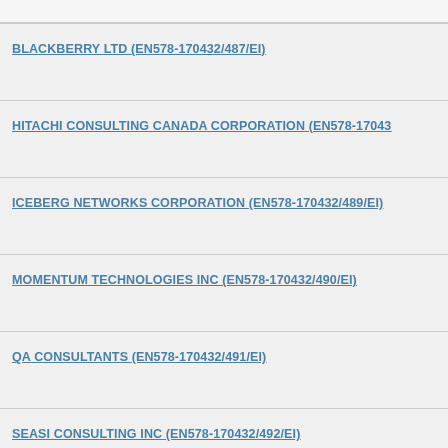BLACKBERRY LTD (EN578-170432/487/EI)
HITACHI CONSULTING CANADA CORPORATION (EN578-170432/...
ICEBERG NETWORKS CORPORATION (EN578-170432/489/EI)
MOMENTUM TECHNOLOGIES INC (EN578-170432/490/EI)
QA CONSULTANTS (EN578-170432/491/EI)
SEASI CONSULTING INC (EN578-170432/492/EI)
TECHWIND INC (EN578-170432/493/EI)